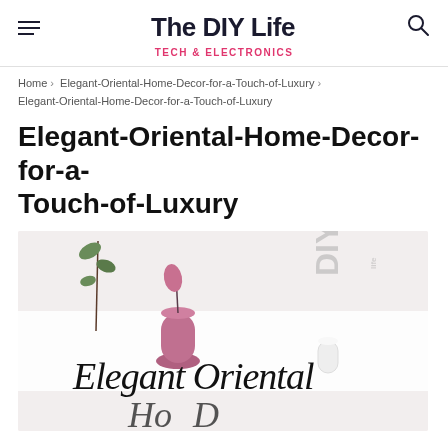The DIY Life — TECH & ELECTRONICS
Home › Elegant-Oriental-Home-Decor-for-a-Touch-of-Luxury › Elegant-Oriental-Home-Decor-for-a-Touch-of-Luxury
Elegant-Oriental-Home-Decor-for-a-Touch-of-Luxury
[Figure (illustration): Hero image with cursive text 'Elegant Oriental' over a light background with decorative vases and plants, with a DIY watermark in the top right corner.]